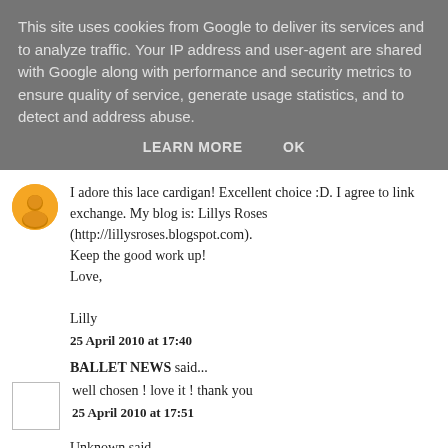This site uses cookies from Google to deliver its services and to analyze traffic. Your IP address and user-agent are shared with Google along with performance and security metrics to ensure quality of service, generate usage statistics, and to detect and address abuse.
LEARN MORE   OK
I adore this lace cardigan! Excellent choice :D. I agree to link exchange. My blog is: Lillys Roses (http://lillysroses.blogspot.com).
Keep the good work up!
Love,

Lilly
25 April 2010 at 17:40
BALLET NEWS said...
well chosen ! love it ! thank you
25 April 2010 at 17:51
Unknown said...
I love the simplicity to your outfits but the gorgeous details like the lace too.